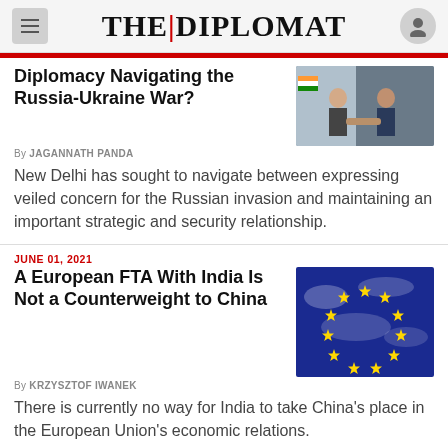THE DIPLOMAT
Diplomacy Navigating the Russia-Ukraine War?
By JAGANNATH PANDA
New Delhi has sought to navigate between expressing veiled concern for the Russian invasion and maintaining an important strategic and security relationship.
JUNE 01, 2021
A European FTA With India Is Not a Counterweight to China
By KRZYSZTOF IWANEK
There is currently no way for India to take China’s place in the European Union’s economic relations.